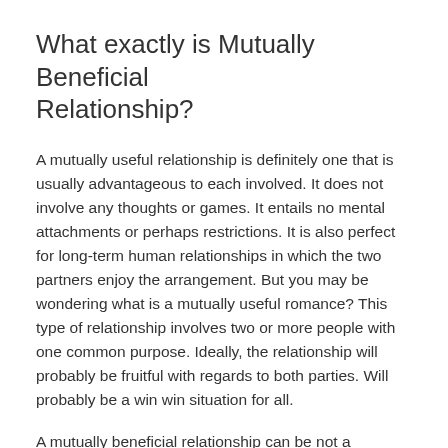What exactly is Mutually Beneficial Relationship?
A mutually useful relationship is definitely one that is usually advantageous to each involved. It does not involve any thoughts or games. It entails no mental attachments or perhaps restrictions. It is also perfect for long-term human relationships in which the two partners enjoy the arrangement. But you may be wondering what is a mutually useful romance? This type of relationship involves two or more people with one common purpose. Ideally, the relationship will probably be fruitful with regards to both parties. Will probably be a win win situation for all.
A mutually beneficial relationship can be not a matrimony. It is a organization or enterprise relationship that benefits both parties. It can be officially binding or certainly not. It